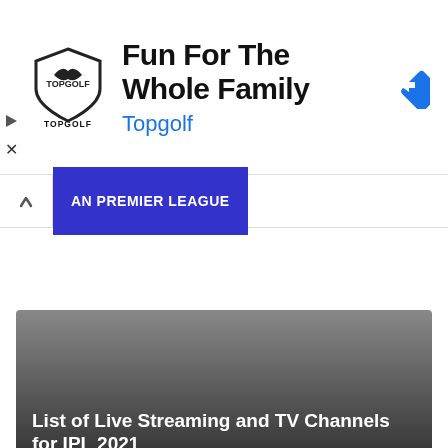[Figure (other): Topgolf advertisement banner with logo, headline 'Fun For The Whole Family', brand name 'Topgolf', play/close controls, and navigation arrow icon]
AN PREMIER LEAGUE
List of Live Streaming and TV Channels for IPL 2021
APRIL 4, 2021  -  1,714 VIEWS